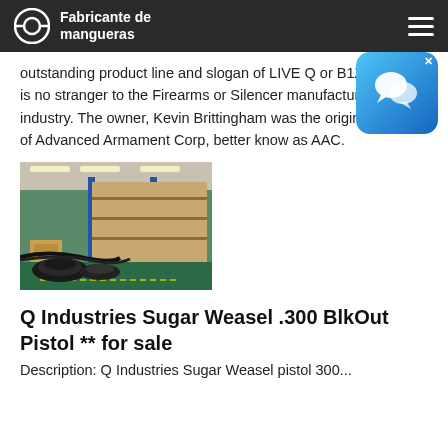Fabricante de mangueras
outstanding product line and slogan of LIVE Q or B1Z1 Q LLC is no stranger to the Firearms or Silencer manufacturing industry. The owner, Kevin Brittingham was the original founder of Advanced Armament Corp, better know as AAC.
[Figure (photo): Factory warehouse interior showing industrial hoses/cables coiled on the floor with shelving racks and blue steel columns in the background]
Q Industries Sugar Weasel .300 BlkOut Pistol ** for sale
Description: Q Industries Sugar Weasel pistol 300...